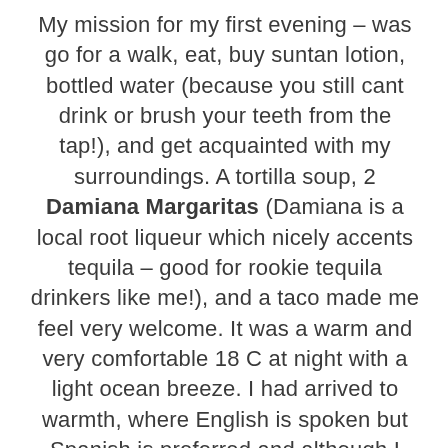My mission for my first evening – was go for a walk, eat, buy suntan lotion, bottled water (because you still cant drink or brush your teeth from the tap!), and get acquainted with my surroundings. A tortilla soup, 2 Damiana Margaritas (Damiana is a local root liqueur which nicely accents tequila – good for rookie tequila drinkers like me!), and a taco made me feel very welcome. It was a warm and very comfortable 18 C at night with a light ocean breeze. I had arrived to warmth, where English is spoken but Spanish is preferred and although I could get wi-fi at the restaurant, why? I was on vacation in a beautiful seaside town.